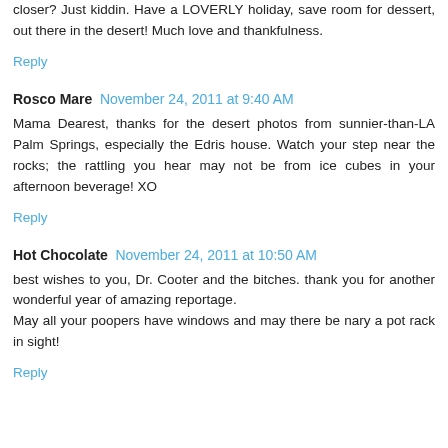closer? Just kiddin. Have a LOVERLY holiday, save room for dessert, out there in the desert! Much love and thankfulness.
Reply
Rosco Mare  November 24, 2011 at 9:40 AM
Mama Dearest, thanks for the desert photos from sunnier-than-LA Palm Springs, especially the Edris house. Watch your step near the rocks; the rattling you hear may not be from ice cubes in your afternoon beverage! XO
Reply
Hot Chocolate  November 24, 2011 at 10:50 AM
best wishes to you, Dr. Cooter and the bitches. thank you for another wonderful year of amazing reportage.
May all your poopers have windows and may there be nary a pot rack in sight!
Reply